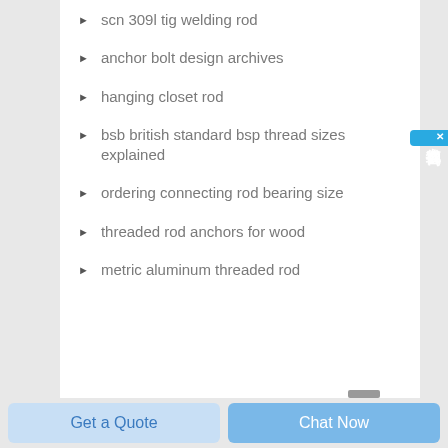scn 309l tig welding rod
anchor bolt design archives
hanging closet rod
bsb british standard bsp thread sizes explained
ordering connecting rod bearing size
threaded rod anchors for wood
metric aluminum threaded rod